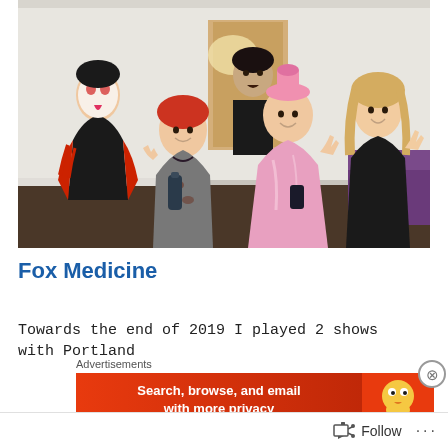[Figure (photo): A group of five people in Halloween costumes posing together in an indoor room. One person wears a black and red ripped costume with face paint, another wears a gray zombie-like dress, one is in a pink princess/ball gown with a pink hat, another in a black outfit, and one person in the back. Room has white walls, dark wood floor, and a purple couch visible on the right.]
Fox Medicine
Towards the end of 2019 I played 2 shows with Portland
[Figure (screenshot): Advertisement overlay: DuckDuckGo ad banner reading 'Search, browse, and email with more privacy' with DuckDuckGo duck logo on right side, on an orange-red background. Above is the label 'Advertisements'. A close button (circled X) appears to the right.]
Follow ···